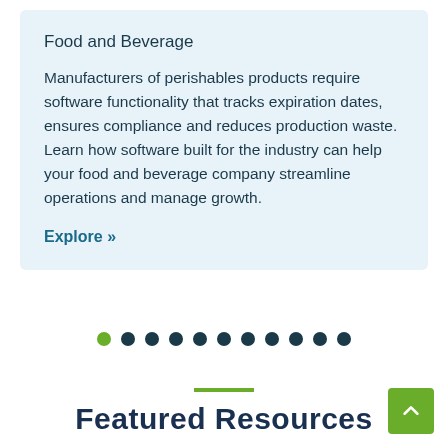Food and Beverage
Manufacturers of perishables products require software functionality that tracks expiration dates, ensures compliance and reduces production waste. Learn how software built for the industry can help your food and beverage company streamline operations and manage growth.
Explore »
[Figure (infographic): Pagination dots row: 11 dots, first dot is green (active), remaining 10 dots are dark navy blue.]
Featured Resources